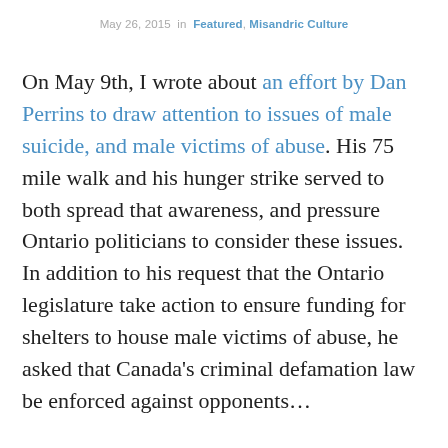May 26, 2015  in  Featured, Misandric Culture
On May 9th, I wrote about an effort by Dan Perrins to draw attention to issues of male suicide, and male victims of abuse. His 75 mile walk and his hunger strike served to both spread that awareness, and pressure Ontario politicians to consider these issues. In addition to his request that the Ontario legislature take action to ensure funding for shelters to house male victims of abuse, he asked that Canada's criminal defamation law be enforced against opponents...